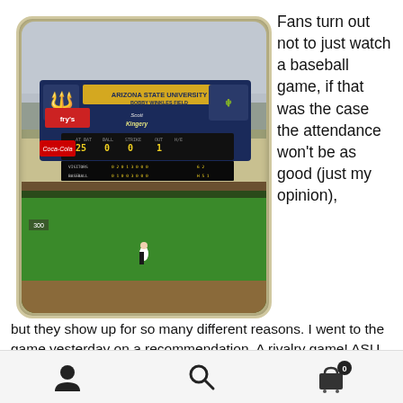[Figure (photo): Photograph of Bobby Winkles Field at Arizona State University showing the scoreboard and outfield with a player standing in the grass.]
Fans turn out not to just watch a baseball game, if that was the case the attendance won't be as good (just my opinion), but they show up for so many different reasons. I went to the game yesterday on a recommendation. A rivalry game! ASU and Arizona don't like each other and I am glad I went